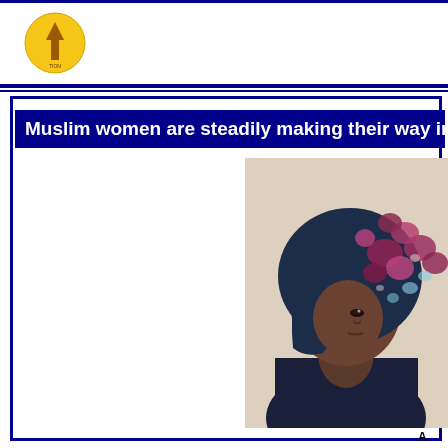Muslim women are steadily making their way into the le
[Figure (photo): Close-up photo of a Muslim woman wearing a colorful floral hijab in dark blue, purple, pink and white tones, with a dark jacket, photographed from the side/front angle against a beige/cream background.]
A